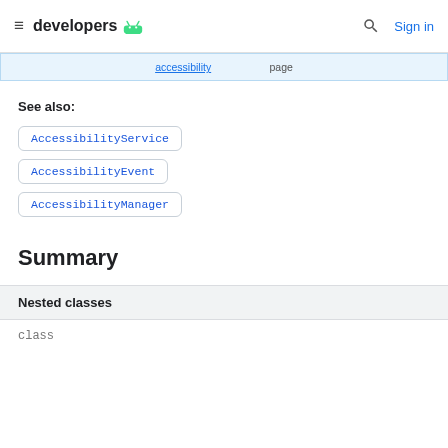developers [android logo] | Search | Sign in
...accessibility... page...
See also:
AccessibilityService
AccessibilityEvent
AccessibilityManager
Summary
| Nested classes |
| --- |
| class |  |